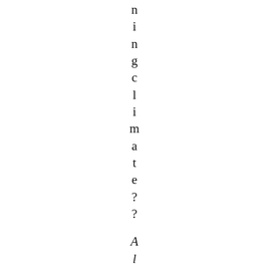n i n g c l i m a t e ? ? Almost as hard